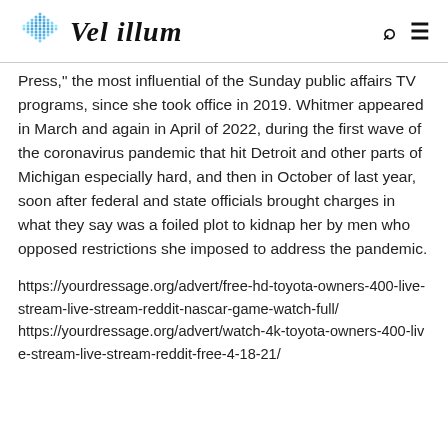Vel illum
Press," the most influential of the Sunday public affairs TV programs, since she took office in 2019. Whitmer appeared in March and again in April of 2022, during the first wave of the coronavirus pandemic that hit Detroit and other parts of Michigan especially hard, and then in October of last year, soon after federal and state officials brought charges in what they say was a foiled plot to kidnap her by men who opposed restrictions she imposed to address the pandemic.
https://yourdressage.org/advert/free-hd-toyota-owners-400-live-stream-live-stream-reddit-nascar-game-watch-full/
https://yourdressage.org/advert/watch-4k-toyota-owners-400-live-stream-live-stream-reddit-free-4-18-21/